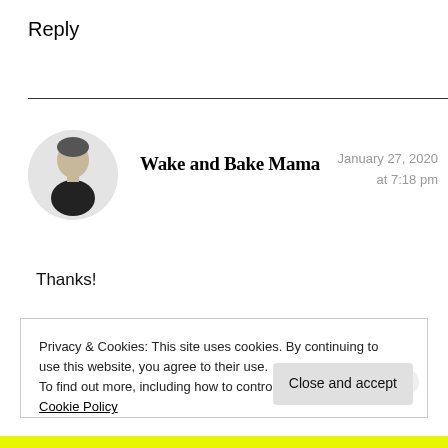Reply
Wake and Bake Mama
January 27, 2020 at 7:18 pm
Thanks!
Privacy & Cookies: This site uses cookies. By continuing to use this website, you agree to their use.
To find out more, including how to control cookies, see here: Cookie Policy
Close and accept